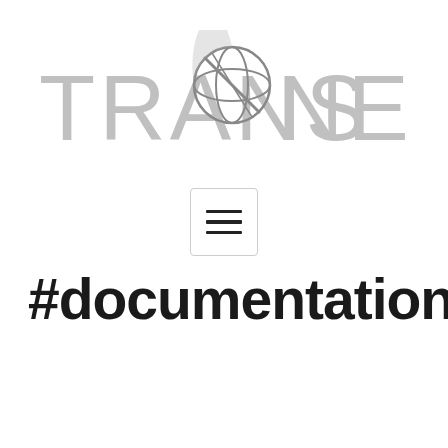[Figure (logo): Trans Neptune logo: large light gray text 'TRANS NEPTUNE' with a stylized globe/planet icon between the two words]
[Figure (other): Hamburger menu button: three horizontal lines inside a rounded rectangle border]
#documentation